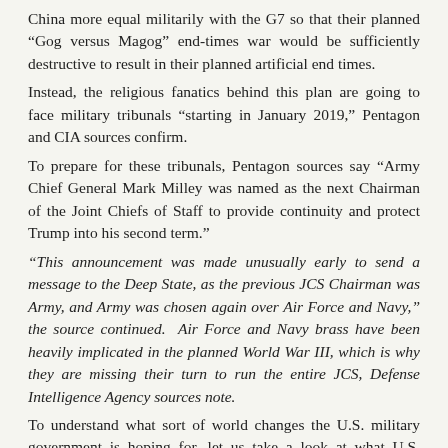China more equal militarily with the G7 so that their planned “Gog versus Magog” end-times war would be sufficiently destructive to result in their planned artificial end times.
Instead, the religious fanatics behind this plan are going to face military tribunals “starting in January 2019,” Pentagon and CIA sources confirm.
To prepare for these tribunals, Pentagon sources say “Army Chief General Mark Milley was named as the next Chairman of the Joint Chiefs of Staff to provide continuity and protect Trump into his second term.”
“This announcement was made unusually early to send a message to the Deep State, as the previous JCS Chairman was Army, and Army was chosen again over Air Force and Navy,” the source continued. Air Force and Navy brass have been heavily implicated in the planned World War III, which is why they are missing their turn to run the entire JCS, Defense Intelligence Agency sources note.
To understand what sort of world changes the U.S. military government is hoping for, let us take a look at what U.S. Secretary of State Mike Pompeo said in a speech delivered at the German Marshall Fund on December 4, 2018.
https://ua.usembassy.gov/remarks-by-secretary-pompeo-at-the-